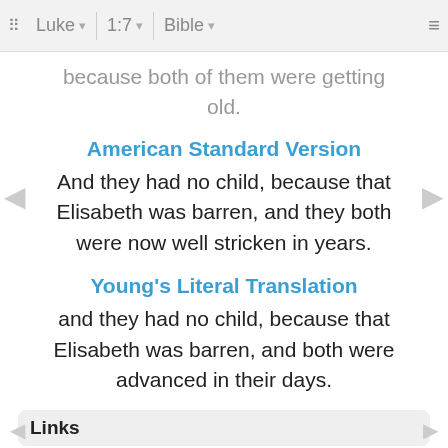Luke 1:7 Bible
because both of them were getting old.
American Standard Version
And they had no child, because that Elisabeth was barren, and they both were now well stricken in years.
Young's Literal Translation
and they had no child, because that Elisabeth was barren, and both were advanced in their days.
Links
Luke 1:7 • Luke 1:7 NIV • Luke 1:7